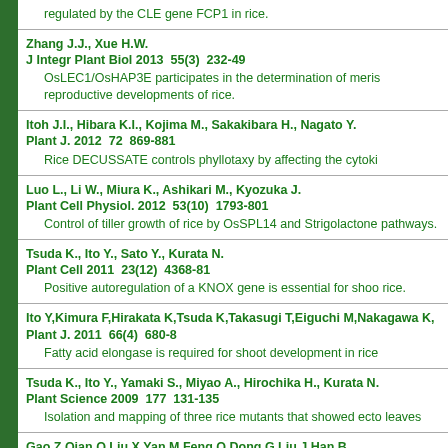regulated by the CLE gene FCP1 in rice.
Zhang J.J., Xue H.W.
J Integr Plant Biol 2013  55(3)  232-49
OsLEC1/OsHAP3E participates in the determination of meris reproductive developments of rice.
Itoh J.I., Hibara K.I., Kojima M., Sakakibara H., Nagato Y.
Plant J. 2012  72  869-881
Rice DECUSSATE controls phyllotaxy by affecting the cytoki
Luo L., Li W., Miura K., Ashikari M., Kyozuka J.
Plant Cell Physiol. 2012  53(10)  1793-801
Control of tiller growth of rice by OsSPL14 and Strigolactone pathways.
Tsuda K., Ito Y., Sato Y., Kurata N.
Plant Cell 2011  23(12)  4368-81
Positive autoregulation of a KNOX gene is essential for shoo rice.
Ito Y,Kimura F,Hirakata K,Tsuda K,Takasugi T,Eiguchi M,Nakagawa K,
Plant J. 2011  66(4)  680-8
Fatty acid elongase is required for shoot development in rice
Tsuda K., Ito Y., Yamaki S., Miyao A., Hirochika H., Kurata N.
Plant Science 2009  177  131-135
Isolation and mapping of three rice mutants that showed ecto leaves
Gao Z,Qian Q,Liu X,Yan M,Feng Q,Dong G,Liu J,Han B
Plant Mol. Biol. 2009  71(3)  265-76
Dwarf 88, a novel putative esterase gene affecting architectu